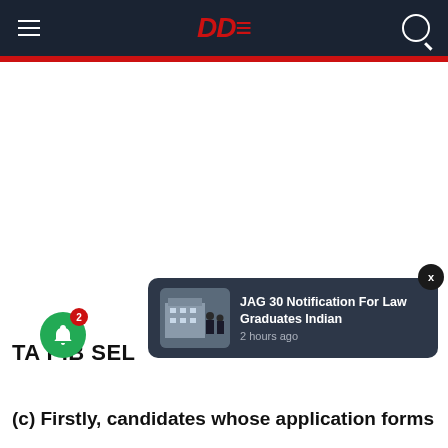DDe (logo)
[Figure (screenshot): Large white advertisement/image area below the header, taking up most of the page vertically]
TA PIB SEL...
(c) Firstly, candidates whose application forms
[Figure (screenshot): Notification popup showing 'JAG 30 Notification For Law Graduates Indian' with a photo of military personnel, time: 2 hours ago]
[Figure (infographic): Green bell icon with notification badge showing '2']